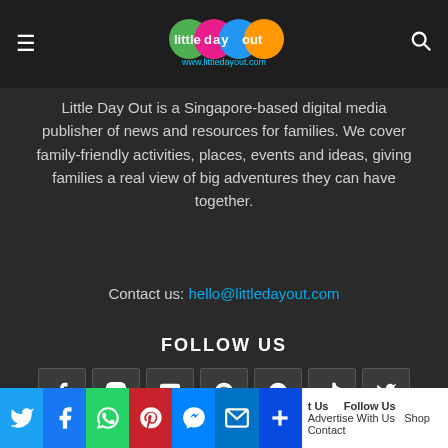Little Day Out — www.littledayout.com
Little Day Out is a Singapore-based digital media publisher of news and resources for families. We cover family-friendly activities, places, events and ideas, giving families a real view of big adventures they can have together.
Contact us: hello@littledayout.com
FOLLOW US
[Figure (other): Social media icon buttons: Facebook, Instagram, Email, Pinterest, Telegram, TikTok, Twitter, YouTube]
Twitter | Facebook | WhatsApp | Pinterest | Messenger | Email | Share | Advertise With Us | Shop | Contact | Follow Us